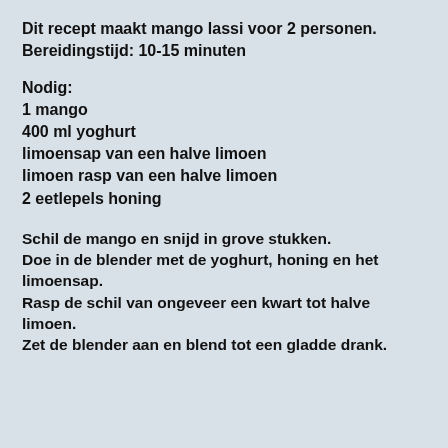Dit recept maakt mango lassi voor 2 personen. Bereidingstijd: 10-15 minuten
Nodig:
1 mango
400 ml yoghurt
limoensap van een halve limoen
limoen rasp van een halve limoen
2 eetlepels honing
Schil de mango en snijd in grove stukken.
Doe in de blender met de yoghurt, honing en het limoensap.
Rasp de schil van ongeveer een kwart tot halve limoen.
Zet de blender aan en blend tot een gladde drank.